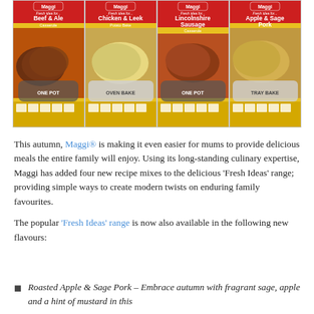[Figure (photo): Four Maggi 'Fresh Ideas for...' recipe mix packets side by side on a yellow/red background: Beef & Ale Casserole (ONE POT), Chicken & Leek Potato Bake (OVEN BAKE), Lincolnshire Sausage Casserole (ONE POT), and Apple & Sage Pork (TRAY BAKE).]
This autumn, Maggi® is making it even easier for mums to provide delicious meals the entire family will enjoy. Using its long-standing culinary expertise, Maggi has added four new recipe mixes to the delicious 'Fresh Ideas' range; providing simple ways to create modern twists on enduring family favourites.
The popular 'Fresh Ideas' range is now also available in the following new flavours:
Roasted Apple & Sage Pork – Embrace autumn with fragrant sage, apple and a hint of mustard in this